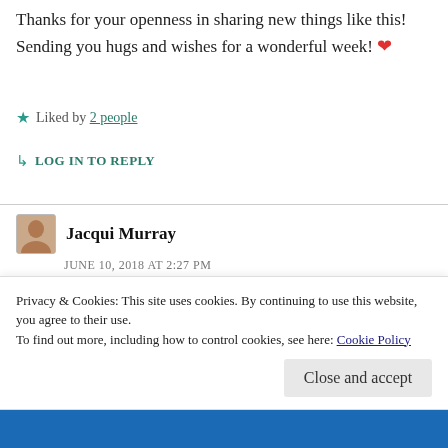Thanks for your openness in sharing new things like this! Sending you hugs and wishes for a wonderful week! ❤
★ Liked by 2 people
↳ LOG IN TO REPLY
Jacqui Murray
JUNE 10, 2018 AT 2:27 PM
I wanted Lucy's name recognition but my gal is much younger than Donald Johanson's. I have a
Privacy & Cookies: This site uses cookies. By continuing to use this website, you agree to their use.
To find out more, including how to control cookies, see here: Cookie Policy
Close and accept